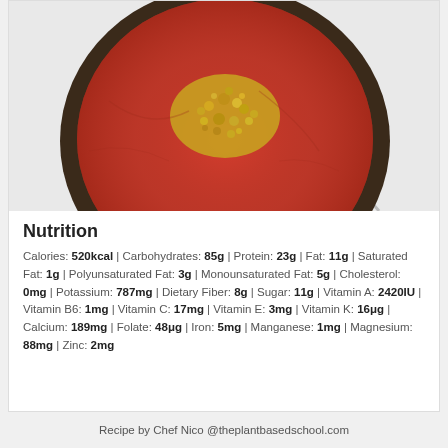[Figure (photo): Top-down view of a pan with tomato sauce and crumbled golden toppings, sitting on a gray surface with a thermometer or utensil visible.]
Nutrition
Calories: 520kcal | Carbohydrates: 85g | Protein: 23g | Fat: 11g | Saturated Fat: 1g | Polyunsaturated Fat: 3g | Monounsaturated Fat: 5g | Cholesterol: 0mg | Potassium: 787mg | Dietary Fiber: 8g | Sugar: 11g | Vitamin A: 2420IU | Vitamin B6: 1mg | Vitamin C: 17mg | Vitamin E: 3mg | Vitamin K: 16μg | Calcium: 189mg | Folate: 48μg | Iron: 5mg | Manganese: 1mg | Magnesium: 88mg | Zinc: 2mg
Recipe by Chef Nico @theplantbasedschool.com